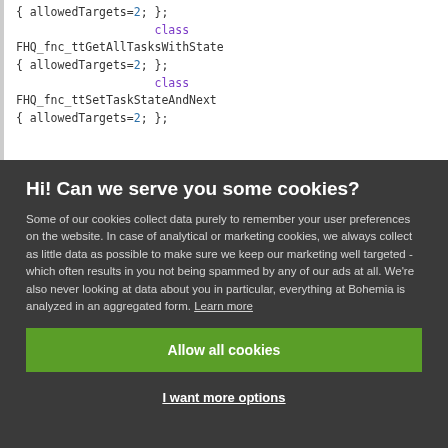{ allowedTargets=2; };
                    class
FHQ_fnc_ttGetAllTasksWithState
{ allowedTargets=2; };
                    class
FHQ_fnc_ttSetTaskStateAndNext
{ allowedTargets=2; };
Hi! Can we serve you some cookies?
Some of our cookies collect data purely to remember your user preferences on the website. In case of analytical or marketing cookies, we always collect as little data as possible to make sure we keep our marketing well targeted - which often results in you not being spammed by any of our ads at all. We're also never looking at data about you in particular, everything at Bohemia is analyzed in an aggregated form. Learn more
Allow all cookies
I want more options